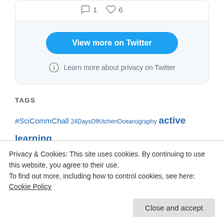[Figure (screenshot): Twitter embedded widget showing tweet footer with comment count 1 and like count 6, a 'View more on Twitter' blue button, and a 'Learn more about privacy on Twitter' info link, all on a light gray background inside a rounded card.]
TAGS
#SciCommChall 24DaysOfKitchenOceanography active learning Bergen CMM31 Coriolis platform density DIYnamics DrnTheory3lyoReality literature melting ice cubes experiment method
Privacy & Cookies: This site uses cookies. By continuing to use this website, you agree to their use.
To find out more, including how to control cookies, see here: Cookie Policy
Close and accept